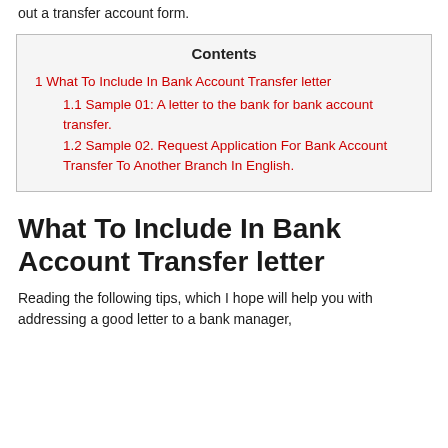out a transfer account form.
| Contents |
| --- |
| 1 What To Include In Bank Account Transfer letter |
| 1.1 Sample 01: A letter to the bank for bank account transfer. |
| 1.2 Sample 02. Request Application For Bank Account Transfer To Another Branch In English. |
What To Include In Bank Account Transfer letter
Reading the following tips, which I hope will help you with addressing a good letter to a bank manager,